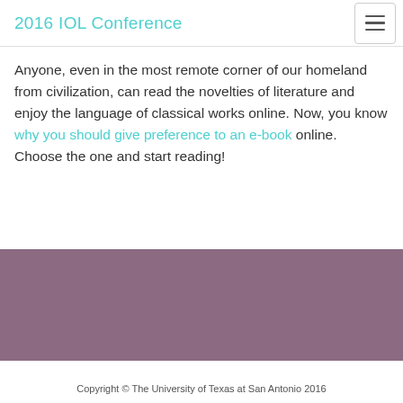2016 IOL Conference
Anyone, even in the most remote corner of our homeland from civilization, can read the novelties of literature and enjoy the language of classical works online. Now, you know why you should give preference to an e-book online. Choose the one and start reading!
[Figure (other): Solid purple/mauve colored rectangular block spanning full width of page]
Copyright © The University of Texas at San Antonio 2016